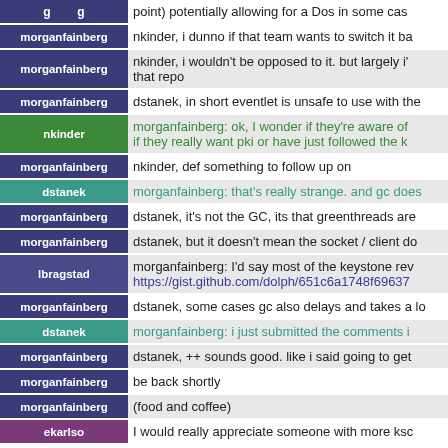[partial row] point) potentially allowing for a Dos in some ca...
morganfainberg: nkinder, i dunno if that team wants to switch it ba...
morganfainberg: nkinder, i wouldn't be opposed to it. but largely i'... that repo
morganfainberg: dstanek, in short eventlet is unsafe to use with the...
nkinder: morganfainberg: ok, I wonder if they're aware of... if they really want pki or have just followed the k...
morganfainberg: nkinder, def something to follow up on
dstanek: morganfainberg: that's really strange. and gc does...
morganfainberg: dstanek, it's not the GC, its that greenthreads are...
morganfainberg: dstanek, but it doesn't mean the socket / client do...
lbragstad: morganfainberg: I'd say most of the keystone rev... https://gist.github.com/dolph/651c6a1748f69637...
morganfainberg: dstanek, some cases gc also delays and takes a lo...
dstanek: morganfainberg: i just submitted the comments i...
morganfainberg: dstanek, ++ sounds good. like i said going to get...
morganfainberg: be back shortly
morganfainberg: (food and coffee)
ekarlso: I would really appreciate someone with more ksc...
*** KanagarajM has joined #openstack-keystone
*** marcoemorais has quit IRC
*** marcoemorais has joined #openstack-keystone